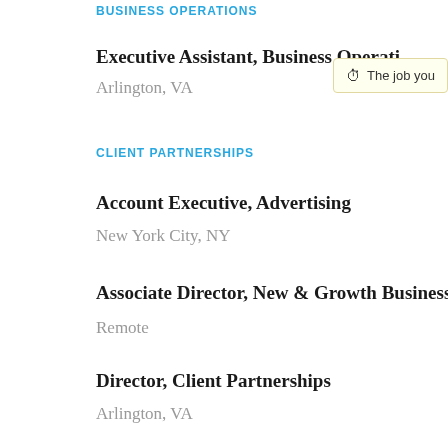BUSINESS OPERATIONS
Executive Assistant, Business Operations
Arlington, VA
CLIENT PARTNERSHIPS
Account Executive, Advertising
New York City, NY
Associate Director, New & Growth Business
Remote
Director, Client Partnerships
Arlington, VA
Director, Client Partnerships (Axios Local)
Charlotte, NC / Raleigh, NC / Richmond, VA